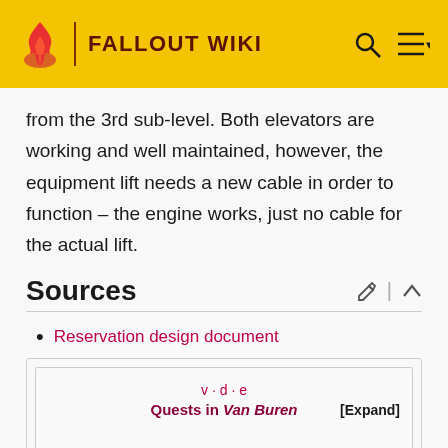FALLOUT WIKI
from the 3rd sub-level. Both elevators are working and well maintained, however, the equipment lift needs a new cable in order to function – the engine works, just no cable for the actual lift.
Sources
Reservation design document
| v · d · e | [Expand] |
| Quests in Van Buren |  |